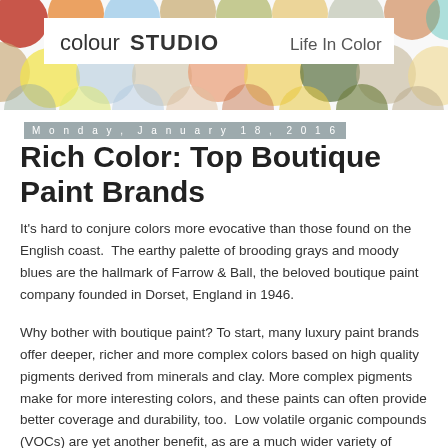[Figure (illustration): Colorful polka dot pattern header with circles in red, orange, yellow, green, blue, gray, tan colors on white background, with a white overlay bar containing the logo 'colourSTUDIO' on the left and 'Life In Color' on the right]
colourSTUDIO   Life In Color
Monday, January 18, 2016
Rich Color: Top Boutique Paint Brands
It's hard to conjure colors more evocative than those found on the English coast.  The earthy palette of brooding grays and moody blues are the hallmark of Farrow & Ball, the beloved boutique paint company founded in Dorset, England in 1946.
Why bother with boutique paint? To start, many luxury paint brands offer deeper, richer and more complex colors based on high quality pigments derived from minerals and clay. More complex pigments make for more interesting colors, and these paints can often provide better coverage and durability, too.  Low volatile organic compounds (VOCs) are yet another benefit, as are a much wider variety of finishes. Here, we've chosen five of the top boutique paint brands we think you should know about.